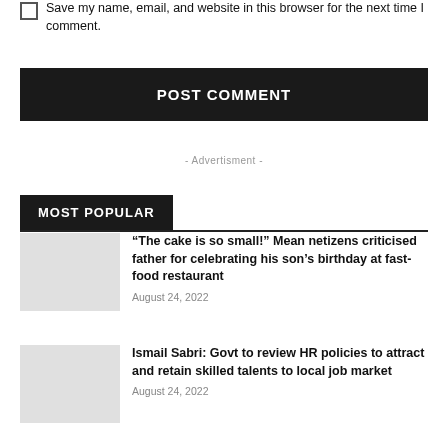Save my name, email, and website in this browser for the next time I comment.
POST COMMENT
- Advertisment -
MOST POPULAR
“The cake is so small!” Mean netizens criticised father for celebrating his son’s birthday at fast-food restaurant
August 24, 2022
Ismail Sabri: Govt to review HR policies to attract and retain skilled talents to local job market
August 24, 2022